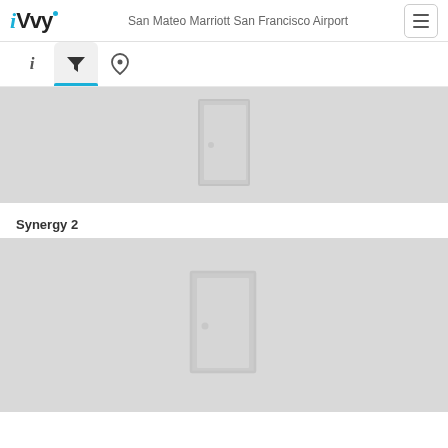iVvy — San Mateo Marriott San Francisco Airport
[Figure (screenshot): Navigation tab bar with info (i), filter (funnel icon, active with blue underline), and location pin icons]
[Figure (illustration): Gray placeholder image of a conference room with a door icon, partially visible at top]
Synergy 2
[Figure (illustration): Gray placeholder image of a conference room (Synergy 2) with a centered door icon]